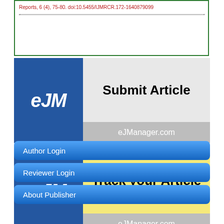Reports, 6 (4), 75-80. doi:10.5455/IJMRCR.172-1640879099
[Figure (other): eJM Submit Article banner with eJManager.com URL]
[Figure (other): eJM Track your Article banner with eJManager.com URL]
Author Login
Reviewer Login
About Publisher